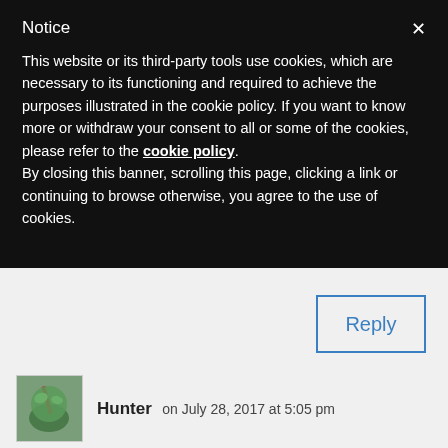Notice
This website or its third-party tools use cookies, which are necessary to its functioning and required to achieve the purposes illustrated in the cookie policy. If you want to know more or withdraw your consent to all or some of the cookies, please refer to the cookie policy. By closing this banner, scrolling this page, clicking a link or continuing to browse otherwise, you agree to the use of cookies.
Reply
Hunter on July 28, 2017 at 5:05 pm
Thanks for the post – really informative. I agree that eating right can really save the trip. Do you find that lettuce ends up being a nuisance, given that it is